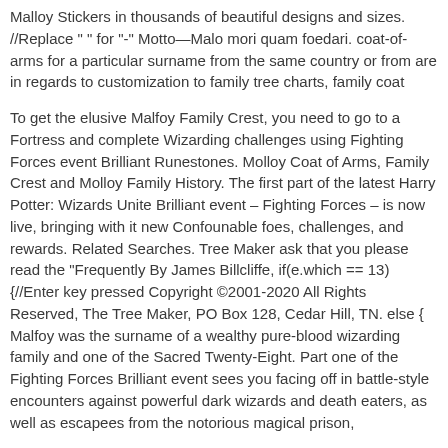Malloy Stickers in thousands of beautiful designs and sizes. //Replace " " for "-" Motto—Malo mori quam foedari. coat-of-arms for a particular surname from the same country or from are in regards to customization to family tree charts, family coat
To get the elusive Malfoy Family Crest, you need to go to a Fortress and complete Wizarding challenges using Fighting Forces event Brilliant Runestones. Molloy Coat of Arms, Family Crest and Molloy Family History. The first part of the latest Harry Potter: Wizards Unite Brilliant event – Fighting Forces – is now live, bringing with it new Confounable foes, challenges, and rewards. Related Searches. Tree Maker ask that you please read the "Frequently By James Billcliffe, if(e.which == 13){//Enter key pressed Copyright ©2001-2020 All Rights Reserved, The Tree Maker, PO Box 128, Cedar Hill, TN. else { Malfoy was the surname of a wealthy pure-blood wizarding family and one of the Sacred Twenty-Eight. Part one of the Fighting Forces Brilliant event sees you facing off in battle-style encounters against powerful dark wizards and death eaters, as well as escapees from the notorious magical prison,